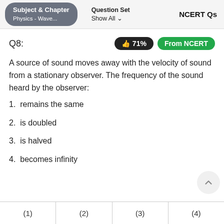Subject & Chapter: Physics - Wave... | Question Set: Show All | NCERT Qs
Q8:
A source of sound moves away with the velocity of sound from a stationary observer. The frequency of the sound heard by the observer:
1. remains the same
2. is doubled
3. is halved
4. becomes infinity
| (1) | (2) | (3) | (4) |
| --- | --- | --- | --- |